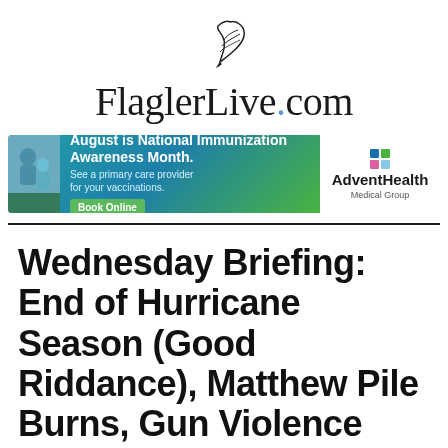[Figure (logo): FlaglerLive.com logo with quill pen illustration above the text]
[Figure (infographic): AdventHealth advertisement banner: 'August is National Immunization Awareness Month. See a primary care provider for your vaccinations. Book Online' with AdventHealth Medical Group logo]
Wednesday Briefing: End of Hurricane Season (Good Riddance), Matthew Pile Burns, Gun Violence